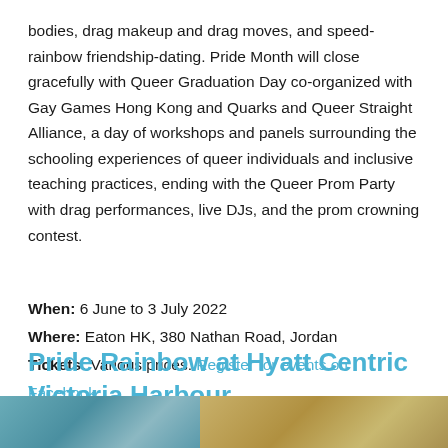bodies, drag makeup and drag moves, and speed-rainbow friendship-dating. Pride Month will close gracefully with Queer Graduation Day co-organized with Gay Games Hong Kong and Quarks and Queer Straight Alliance, a day of workshops and panels surrounding the schooling experiences of queer individuals and inclusive teaching practices, ending with the Queer Prom Party with drag performances, live DJs, and the prom crowning contest.
When: 6 June to 3 July 2022
Where: Eaton HK, 380 Nathan Road, Jordan
Tickets: Various prices. Register for events on Facebook.
Pride Rainbow at Hyatt Centric Victoria Harbour
[Figure (photo): Partial view of two photos at the bottom of the page, cropped by page edge]